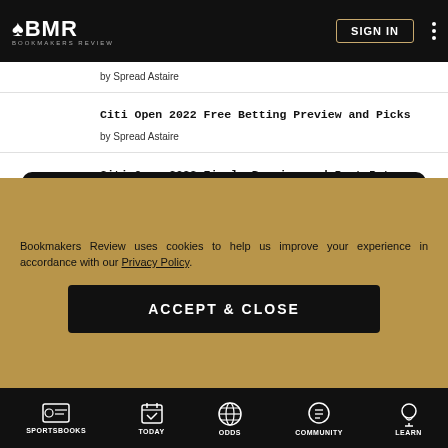BMR BOOKMAKERS REVIEW | SIGN IN
by Spread Astaire
Citi Open 2022 Free Betting Preview and Picks
by Spread Astaire
Citi Open 2022 Finals Preview and Best Bets
by Spread Astaire
Calculators
Bookmakers Review uses cookies to help us improve your experience in accordance with our Privacy Policy.
ACCEPT & CLOSE
SPORTSBOOKS | TODAY | ODDS | COMMUNITY | LEARN